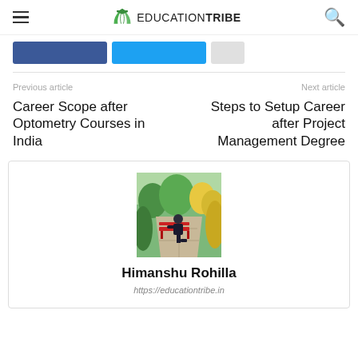EDUCATION TRIBE
[Figure (screenshot): Social sharing buttons: Facebook, Twitter, and one more]
Previous article
Next article
Career Scope after Optometry Courses in India
Steps to Setup Career after Project Management Degree
[Figure (photo): Author photo: Himanshu Rohilla sitting on a red bench in a green garden]
Himanshu Rohilla
https://educationtribe.in